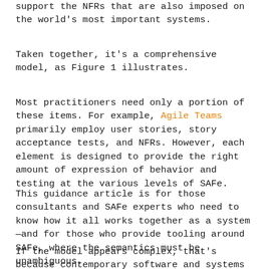support the NFRs that are also imposed on the world's most important systems.
Taken together, it's a comprehensive model, as Figure 1 illustrates.
Most practitioners need only a portion of these items. For example, Agile Teams primarily employ user stories, story acceptance tests, and NFRs. However, each element is designed to provide the right amount of expression of behavior and testing at the various levels of SAFe.
This guidance article is for those consultants and SAFe experts who need to know how it all works together as a system—and for those who provide tooling around SAFe, where the semantics must be unambiguous.
If the model appears complex, that's because contemporary software and systems development at scale is a complicated domain, with Agile at the platform for